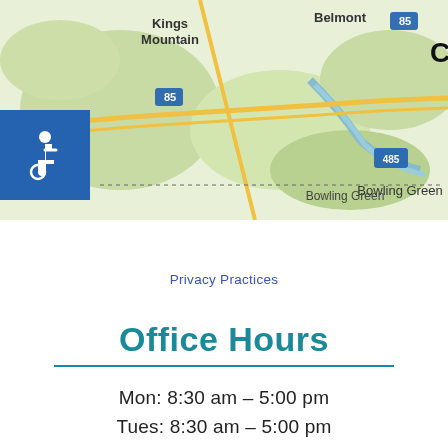[Figure (map): Google Maps view showing Kings Mountain, Belmont, Bowling Green area near Charlotte, NC with highway markers 85 and 485]
Privacy Practices
Office Hours
Mon: 8:30 am – 5:00 pm
Tues: 8:30 am – 5:00 pm
Wed: 8:30 am – 5:00 pm
Thurs: 8:30 am – 5:00 pm
Fri: 8:30 am – 12:00 pm